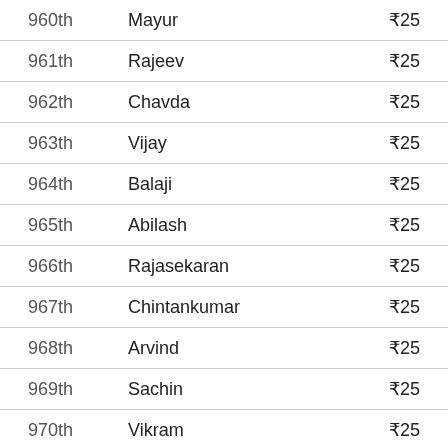| Rank | Name | Prize |
| --- | --- | --- |
| 960th | Mayur | ₹25 |
| 961th | Rajeev | ₹25 |
| 962th | Chavda | ₹25 |
| 963th | Vijay | ₹25 |
| 964th | Balaji | ₹25 |
| 965th | Abilash | ₹25 |
| 966th | Rajasekaran | ₹25 |
| 967th | Chintankumar | ₹25 |
| 968th | Arvind | ₹25 |
| 969th | Sachin | ₹25 |
| 970th | Vikram | ₹25 |